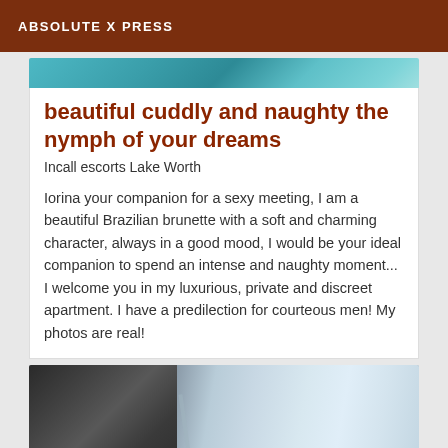ABSOLUTE X PRESS
[Figure (photo): Top portion of an image with teal/aqua water or surface texture visible as a strip]
beautiful cuddly and naughty the nymph of your dreams
Incall escorts Lake Worth
Iorina your companion for a sexy meeting, I am a beautiful Brazilian brunette with a soft and charming character, always in a good mood, I would be your ideal companion to spend an intense and naughty moment... I welcome you in my luxurious, private and discreet apartment. I have a predilection for courteous men! My photos are real!
[Figure (photo): Bottom portion showing a close-up photograph with dark lace/fabric on the left and light blue/white fabric or surface on the right]